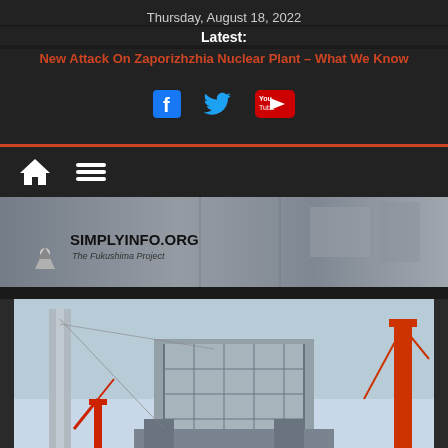Thursday, August 18, 2022
Latest:
New Attack On Zaporizhzhia Nuclear Plant – What We Know
[Figure (illustration): Social media icons: Facebook, Twitter, YouTube]
[Figure (logo): SimplyInfo.org – The Fukushima Project banner logo with radiation triangle symbol and aerial photo of nuclear plant in background]
[Figure (photo): Photograph of Fukushima nuclear plant construction/containment structure with scaffolding, crane, and industrial framework against a light blue sky]